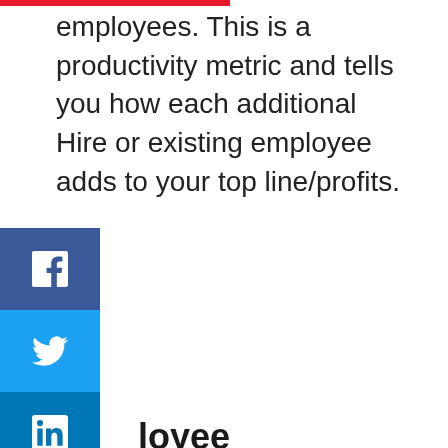employees. This is a productivity metric and tells you how each additional Hire or existing employee adds to your top line/profits.
Employee Performance
You can keep track of your employee performance through self-assessments, peer reviews, manager assessments, or a combination of all three.
Goal Tracking
Eventually, you can set clear and measurable performance metrics that you want your employees should work to achieve, and by hitting them, each employee contributes to the overall health of the business with the help of goal-based strategies. Ensure that the individual employee goals are specific.